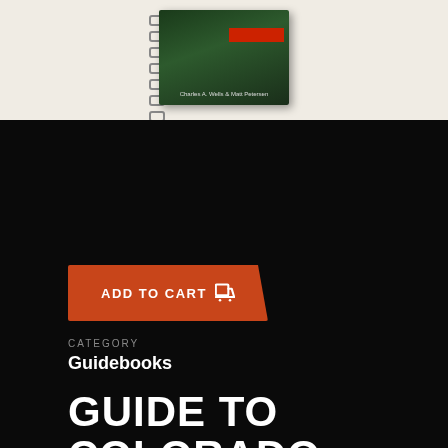[Figure (photo): Spiral-bound book cover for Guide to Colorado Backroads & 4-Wheel-Drive Trails shown on a beige/cream background]
ADD TO CART
CATEGORY
Guidebooks
GUIDE TO COLORADO BACKROADS & 4-WHEEL-DRIVE TRAILS